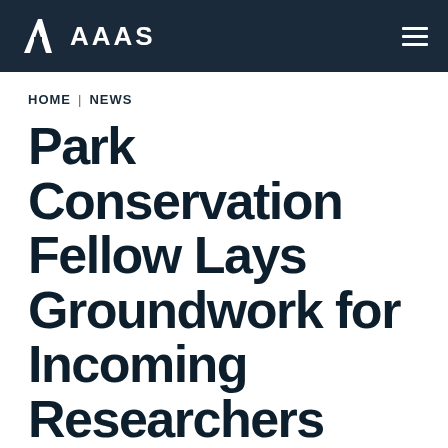AAAS
HOME | NEWS
Park Conservation Fellow Lays Groundwork for Incoming Researchers
[Figure (other): Social sharing icons: Facebook (f) and email (envelope)]